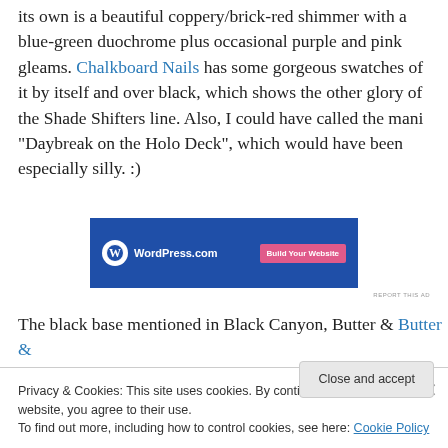its own is a beautiful coppery/brick-red shimmer with a blue-green duochrome plus occasional purple and pink gleams. Chalkboard Nails has some gorgeous swatches of it by itself and over black, which shows the other glory of the Shade Shifters line. Also, I could have called the mani “Daybreak on the Holo Deck”, which would have been especially silly. :)
[Figure (other): WordPress.com advertisement banner with blue background, WordPress logo on left and pink 'Build Your Website' button on right]
The black base mentioned in Black Canyon, Butter &
Privacy & Cookies: This site uses cookies. By continuing to use this website, you agree to their use.
To find out more, including how to control cookies, see here: Cookie Policy
Close and accept